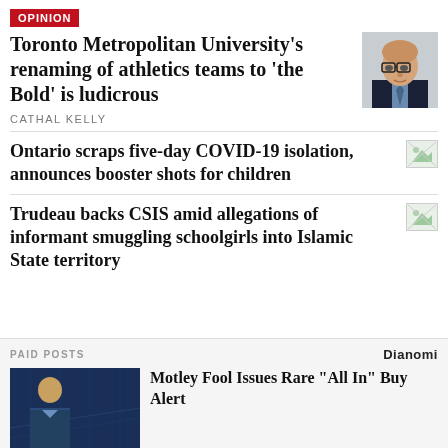OPINION
Toronto Metropolitan University's renaming of athletics teams to 'the Bold' is ludicrous
CATHAL KELLY
[Figure (photo): Headshot of a bald man with glasses in a dark suit]
Ontario scraps five-day COVID-19 isolation, announces booster shots for children
[Figure (photo): Small broken image thumbnail]
Trudeau backs CSIS amid allegations of informant smuggling schoolgirls into Islamic State territory
[Figure (photo): Small broken image thumbnail]
PAID POSTS
Dianomi
Motley Fool Issues Rare "All In" Buy Alert
[Figure (photo): Man in suit in front of financial data screen]